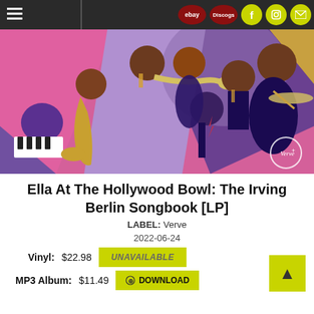Navigation bar with hamburger menu, eBay, Discogs, Facebook, Instagram, Email icons
[Figure (illustration): Colorful illustrated jazz band with multiple musicians playing saxophone, trumpet, trombone, piano, bass, and drums in bold geometric cubist style with pink, purple, gold, and magenta colors. Verve Records logo visible bottom right.]
Ella At The Hollywood Bowl: The Irving Berlin Songbook [LP]
LABEL: Verve
2022-06-24
Vinyl: $22.98  UNAVAILABLE
MP3 Album: $11.49  ⊕ DOWNLOAD